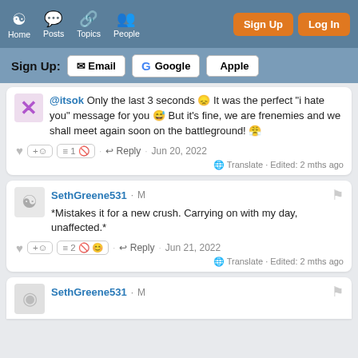Home Posts Topics People | Sign Up Log In
Sign Up: Email | Google | Apple
@itsok Only the last 3 seconds 😞 It was the perfect "i hate you" message for you 😅 But it's fine, we are frenemies and we shall meet again soon on the battleground! 😤
♥ +☺ ≔1 🚫 · ↩ Reply · Jun 20, 2022
🌐 Translate · Edited: 2 mths ago
SethGreene531 · M
*Mistakes it for a new crush. Carrying on with my day, unaffected.*
♥ +☺ ≔2 🚫 😊 · ↩ Reply · Jun 21, 2022
🌐 Translate · Edited: 2 mths ago
SethGreene531 · M